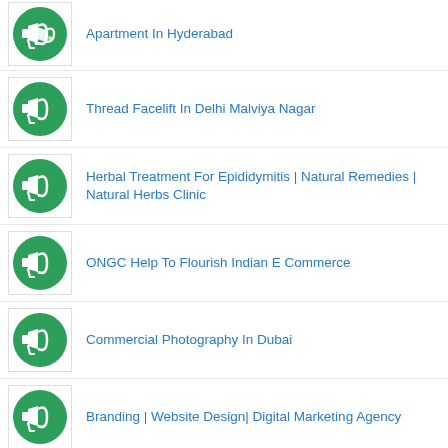Apartment In Hyderabad
Thread Facelift In Delhi Malviya Nagar
Herbal Treatment For Epididymitis | Natural Remedies | Natural Herbs Clinic
ONGC Help To Flourish Indian E Commerce
Commercial Photography In Dubai
Branding | Website Design| Digital Marketing Agency
The Essential Don'ts In Retail Designing To Hike Your Sales